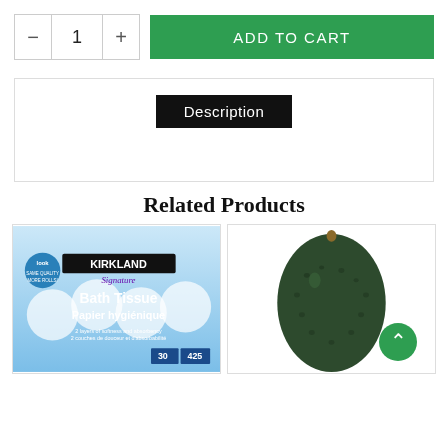[Figure (screenshot): Add to cart UI with quantity selector showing minus button, 1, plus button, and a green ADD TO CART button]
Description
Related Products
[Figure (photo): Kirkland Bath Tissue Papier hygiénique product package showing 30 rolls 425 sheets]
[Figure (photo): Dark green avocado fruit on white background]